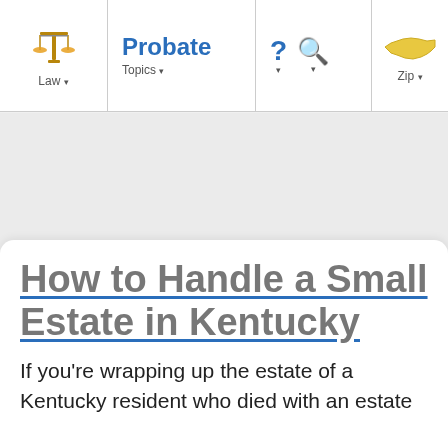Law ▾  |  Probate Topics ▾  |  ?  Q  |  Zip ▾
[Figure (screenshot): Navigation bar for a legal website with Law icon (scales of justice), Probate Topics menu, help and search icons, and Zip code selector with Kentucky state icon]
How to Handle a Small Estate in Kentucky
If you're wrapping up the estate of a Kentucky resident who died with an estate